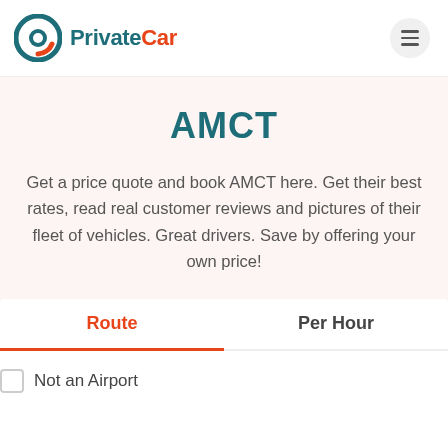[Figure (logo): PrivateCar logo with circular icon and text]
AMCT
Get a price quote and book AMCT here. Get their best rates, read real customer reviews and pictures of their fleet of vehicles. Great drivers. Save by offering your own price!
Route | Per Hour
Not an Airport